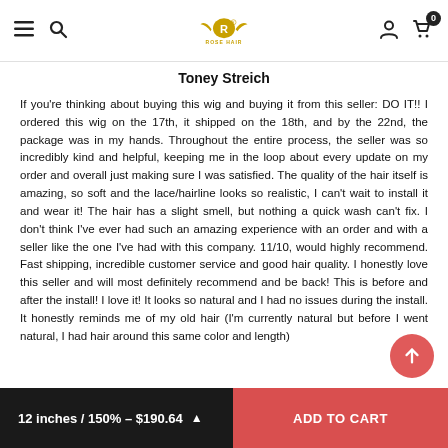Rose Hair — navigation header with menu, search, logo, account, cart (0)
Toney Streich
If you're thinking about buying this wig and buying it from this seller: DO IT!! I ordered this wig on the 17th, it shipped on the 18th, and by the 22nd, the package was in my hands. Throughout the entire process, the seller was so incredibly kind and helpful, keeping me in the loop about every update on my order and overall just making sure I was satisfied. The quality of the hair itself is amazing, so soft and the lace/hairline looks so realistic, I can't wait to install it and wear it! The hair has a slight smell, but nothing a quick wash can't fix. I don't think I've ever had such an amazing experience with an order and with a seller like the one I've had with this company. 11/10, would highly recommend. Fast shipping, incredible customer service and good hair quality. I honestly love this seller and will most definitely recommend and be back! This is before and after the install! I love it! It looks so natural and I had no issues during the install. It honestly reminds me of my old hair (I'm currently natural but before I went natural, I had hair around this same color and length)
12 inches / 150% - $190.64  |  ADD TO CART